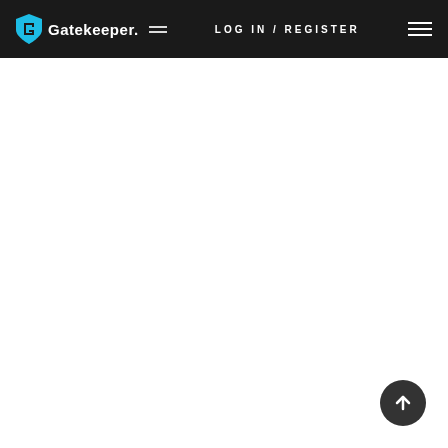Gatekeeper — LOG IN / REGISTER
[Figure (other): Scroll-to-top button, dark circular button with upward arrow, positioned in bottom-right corner]